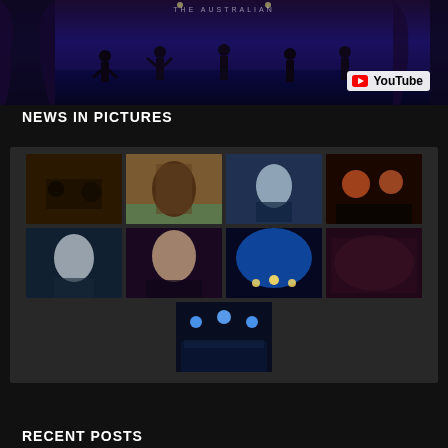[Figure (screenshot): A dark theatre stage scene with silhouetted dancers/figures, overlaid with a YouTube logo badge in bottom-right. Text 'THE AUSTRALIAN' visible at top center.]
NEWS IN PICTURES
[Figure (photo): Grid of 9 photos: animals in dark setting; person in elaborate costume by pool; woman portrait in blue; theatrical colorful scene; man with child; blonde woman portrait; blue dome stage; theatre group scene; concert with stage lighting.]
RECENT POSTS